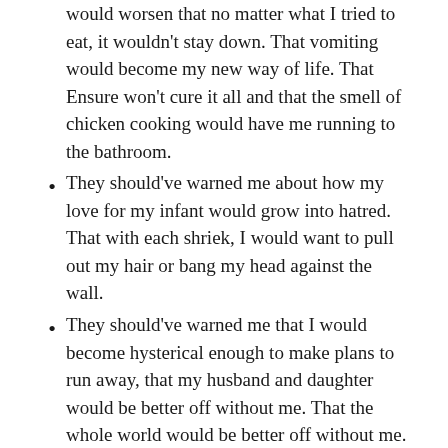would worsen that no matter what I tried to eat, it wouldn't stay down. That vomiting would become my new way of life. That Ensure won't cure it all and that the smell of chicken cooking would have me running to the bathroom.
They should've warned me about how my love for my infant would grow into hatred. That with each shriek, I would want to pull out my hair or bang my head against the wall.
They should've warned me that I would become hysterical enough to make plans to run away, that my husband and daughter would be better off without me. That the whole world would be better off without me.
They should've warned me that I would scare my family and friends with my hysterics.
They should've warned me that I would see